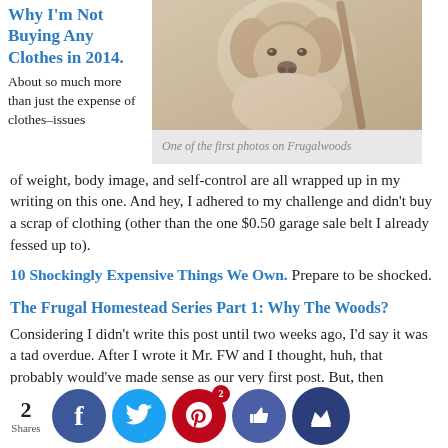Why I'm Not Buying Any Clothes in 2014.
[Figure (photo): Close-up photo of a dog (appears to be a light-colored dog), one of the first photos on Frugalwoods blog.]
One of the first photos on Frugalwoods
About so much more than just the expense of clothes–issues of weight, body image, and self-control are all wrapped up in my writing on this one. And hey, I adhered to my challenge and didn't buy a scrap of clothing (other than the one $0.50 garage sale belt I already fessed up to).
10 Shockingly Expensive Things We Own. Prepare to be shocked.
The Frugal Homestead Series Part 1: Why The Woods?
Considering I didn't write this post until two weeks ago, I'd say it was a tad overdue. After I wrote it Mr. FW and I thought, huh, that probably would've made sense as our very first post. But, then already would've read in rate, thor capsulation the reason our frugality and, the in a se